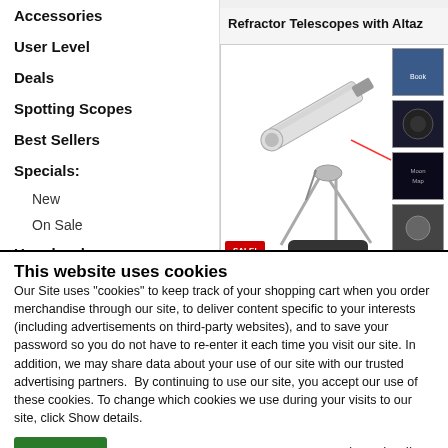Accessories
User Level
Deals
Spotting Scopes
Best Sellers
Specials:
New
On Sale
User level:
Beginner
[Figure (screenshot): Product image showing a refractor telescope on tripod with accessories including books and accessories on the right side, with a red SALE! badge]
Refractor Telescopes with Altaz
This website uses cookies
Our Site uses "cookies" to keep track of your shopping cart when you order merchandise through our site, to deliver content specific to your interests (including advertisements on third-party websites), and to save your password so you do not have to re-enter it each time you visit our site. In addition, we may share data about your use of our site with our trusted advertising partners.  By continuing to use our site, you accept our use of these cookies. To change which cookies we use during your visits to our site, click Show details.
OK
Show details